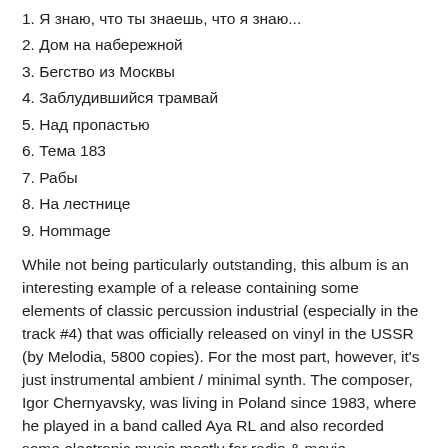1. Я знаю, что ты знаешь, что я знаю...
2. Дом на набережной
3. Бегство из Москвы
4. Заблудившийся трамвай
5. Над пропастью
6. Тема 183
7. Рабы
8. На лестнице
9. Hommage
While not being particularly outstanding, this album is an interesting example of a release containing some elements of classic percussion industrial (especially in the track #4) that was officially released on vinyl in the USSR (by Melodia, 5800 copies). For the most part, however, it's just instrumental ambient / minimal synth. The composer, Igor Chernyavsky, was living in Poland since 1983, where he played in a band called Aya RL and also recorded some electronic music mostly for radio & movie soundtracks. This is his first solo work, recorded in Warsaw in 1988. The release notes describe it as a mix between "so-called post-